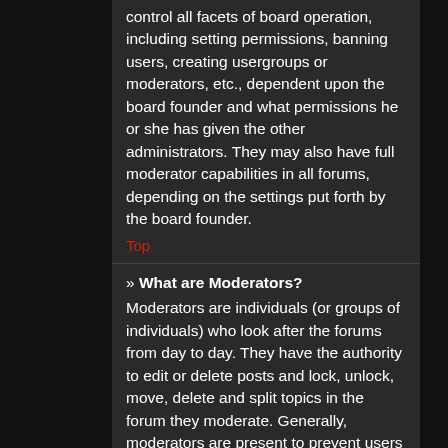control all facets of board operation, including setting permissions, banning users, creating usergroups or moderators, etc., dependent upon the board founder and what permissions he or she has given the other administrators. They may also have full moderator capabilities in all forums, depending on the settings put forth by the board founder.
Top
» What are Moderators?
Moderators are individuals (or groups of individuals) who look after the forums from day to day. They have the authority to edit or delete posts and lock, unlock, move, delete and split topics in the forum they moderate. Generally, moderators are present to prevent users from going off-topic or posting abusive or offensive material.
Top
» What are usergroups?
Usergroups are groups of users that divide the community into manageable sections board administrators can work with. Each user can belong to several groups and each group can be assigned individual permissions. This provides an easy way for administrators to change permissions for many users at once, such as changing moderator permissions or granting users access to a